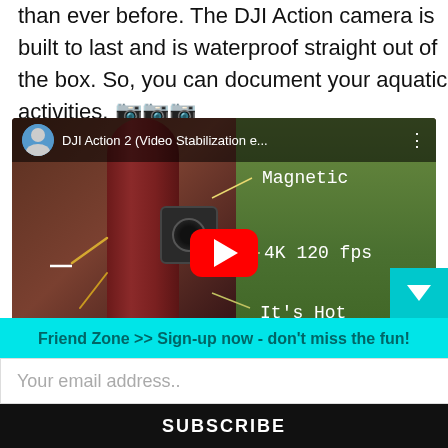than ever before. The DJI Action camera is built to last and is waterproof straight out of the box. So, you can document your aquatic activities. 🎥🎥🎥
[Figure (screenshot): YouTube video thumbnail for 'DJI Action 2 (Video Stabilization e...' showing a camera mounted on a pole with annotations: Magnetic, 4K 120 fps, It's Hot. Red YouTube play button in center.]
Friend Zone >> Sign-up now - don't miss the fun!
Your email address..
SUBSCRIBE